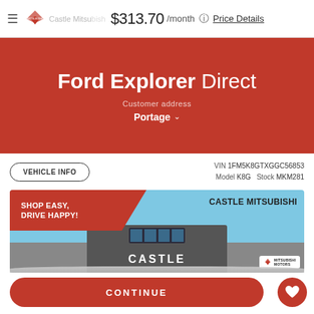≡  Castle Mitsubishi  $313.70 /month  ⓘ  Price Details
Ford Explorer Direct
Customer address
Portage ∨
VEHICLE INFO  VIN 1FM5K8GTXGGC56853  Model K8G  Stock MKM281
[Figure (photo): Castle Mitsubishi dealership photo with red promo overlay reading SHOP EASY, DRIVE HAPPY! and CASTLE MITSUBISHI branding, showing building exterior with blue sky]
CONTINUE